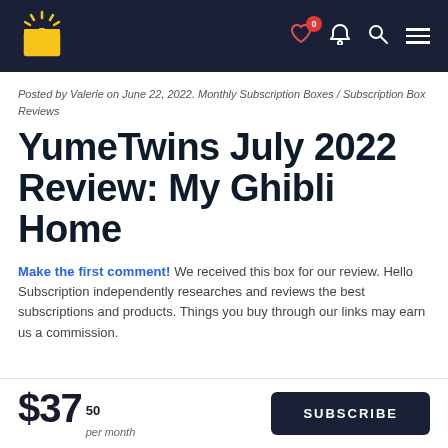YumeTwins navigation bar with logo, heart icon (0), bell, search, and hamburger menu
Posted by Valerie on June 22, 2022. Monthly Subscription Boxes / Subscription Box Reviews
YumeTwins July 2022 Review: My Ghibli Home
Make the first comment! We received this box for our review. Hello Subscription independently researches and reviews the best subscriptions and products. Things you buy through our links may earn us a commission.
$37.50 per month  SUBSCRIBE